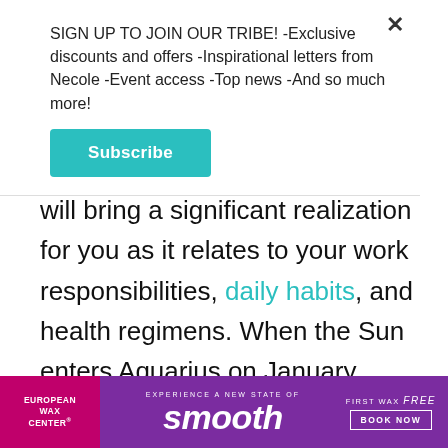SIGN UP TO JOIN OUR TRIBE! -Exclusive discounts and offers -Inspirational letters from Necole -Event access -Top news -And so much more!
Subscribe
will bring a significant realization for you as it relates to your work responsibilities, daily habits, and health regimens. When the Sun enters Aquarius on January 19th, you will experience focused energy and experiences relating to public image and how the world experiences you. Prepare to be in the spotlight and to spend increased time and energy
[Figure (infographic): European Wax Center advertisement banner with purple and pink background. Text reads: EXPERIENCE A NEW STATE OF smooth FIRST WAX free BOOK NOW]